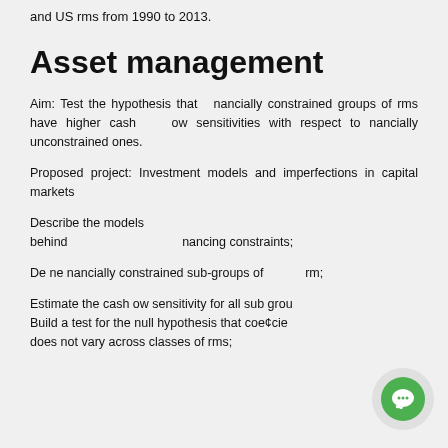Data: Data on an unbalanced panel of non-financial and US rms from 1990 to 2013.
Asset management
Aim: Test the hypothesis that nancially constrained groups of rms have higher cash ow sensitivities with respect to nancially unconstrained ones.
Proposed project: Investment models and imperfections in capital markets
Describe the models behind nancing constraints;
De ne nancially constrained sub-groups of rm;
Estimate the cash ow sensitivity for all sub groups; Build a test for the null hypothesis that coe¢cie does not vary across classes of rms;